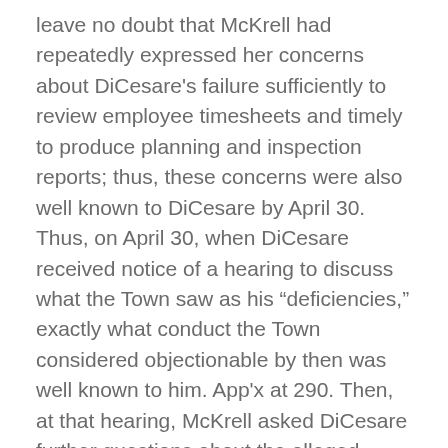leave no doubt that McKrell had repeatedly expressed her concerns about DiCesare's failure sufficiently to review employee timesheets and timely to produce planning and inspection reports; thus, these concerns were also well known to DiCesare by April 30. Thus, on April 30, when DiCesare received notice of a hearing to discuss what the Town saw as his “deficiencies,” exactly what conduct the Town considered objectionable by then was well known to him. App'x at 290. Then, at that hearing, McKrell asked DiCesare further questions about the alleged mismanagement of the Elm Ridge Road project and gave him an opportunity to respond. DiCesare declined to answer. He was also asked about his failures to comply with requirements bearing on timesheets and the planning and inspection reports. Again, he declined to answer. Indeed, he did not answer seven of the eight questions put to him, although the relevant facts were within his personal knowledge. In this context, we comfortably conclude that the